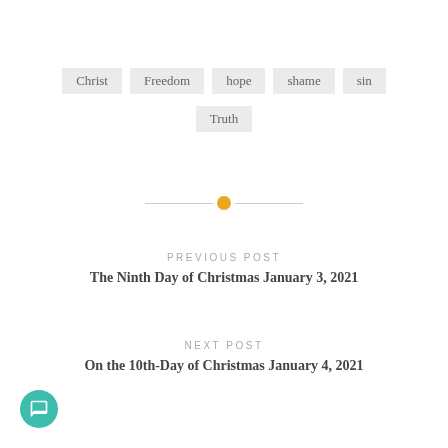Christ
Freedom
hope
shame
sin
Truth
PREVIOUS POST
The Ninth Day of Christmas January 3, 2021
NEXT POST
On the 10th-Day of Christmas January 4, 2021